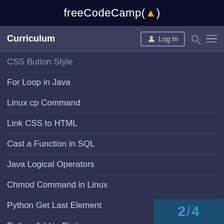freeCodeCamp(🔥)
Curriculum
CSS Button Style
For Loop in Java
Linux cp Command
Link CSS to HTML
Cast a Function in SQL
Java Logical Operators
Chmod Command in Linux
Python Get Last Element
Python Add to Dictionary
Declare an Array in Java
Get Current Time in Python
2 / 4